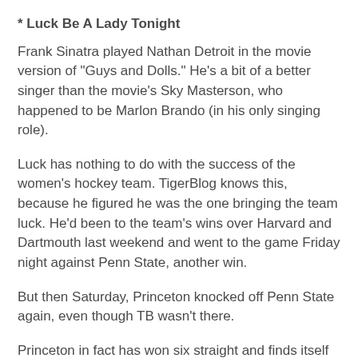* Luck Be A Lady Tonight
Frank Sinatra played Nathan Detroit in the movie version of "Guys and Dolls." He's a bit of a better singer than the movie's Sky Masterson, who happened to be Marlon Brando (in his only singing role).
Luck has nothing to do with the success of the women's hockey team. TigerBlog knows this, because he figured he was the one bringing the team luck. He'd been to the team's wins over Harvard and Dartmouth last weekend and went to the game Friday night against Penn State, another win.
But then Saturday, Princeton knocked off Penn State again, even though TB wasn't there.
Princeton in fact has won six straight and finds itself at 11-4-1 through 16 games. Game No. 17 isn't until New Year's Day, when the Tigers host Brown (with Yale the next day). Princeton is 5-4-1 in the ECAC, good for 11 points and a second-place tie.